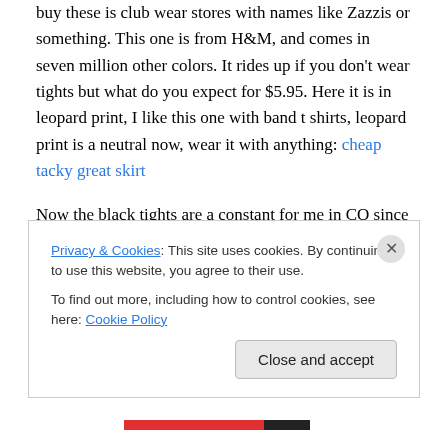buy these is club wear stores with names like Zazzis or something. This one is from H&M, and comes in seven million other colors. It rides up if you don't wear tights but what do you expect for $5.95. Here it is in leopard print, I like this one with band t shirts, leopard print is a neutral now, wear it with anything: cheap tacky great skirt
Now the black tights are a constant for me in CO since the temp drops at night, but I also love them because I can be less ladylike and still climb over seats if I need to get past a security guard to sit in seats by your friends that are empty and closer. When you find some that work, buy
Privacy & Cookies: This site uses cookies. By continuing to use this website, you agree to their use. To find out more, including how to control cookies, see here: Cookie Policy
Close and accept